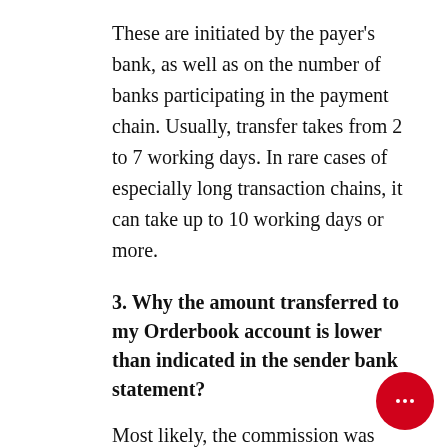These are initiated by the payer's bank, as well as on the number of banks participating in the payment chain. Usually, transfer takes from 2 to 7 working days. In rare cases of especially long transaction chains, it can take up to 10 working days or more.
3. Why the amount transferred to my Orderbook account is lower than indicated in the sender bank statement?
Most likely, the commission was withdrawn by the banks within the payment chain. In such cases, each ban…